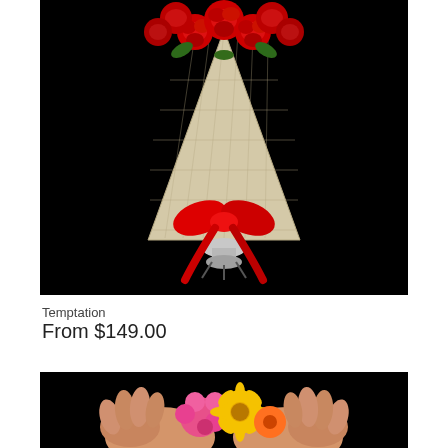[Figure (photo): A bouquet of red roses wrapped in burlap/jute fabric tied with a large red satin bow, placed in a small silver vase stand, photographed against a black background.]
Temptation
From $149.00
[Figure (photo): Hands holding a small colorful flower bouquet with pink, yellow, and orange flowers, photographed against a black background. Partial view at bottom of page.]